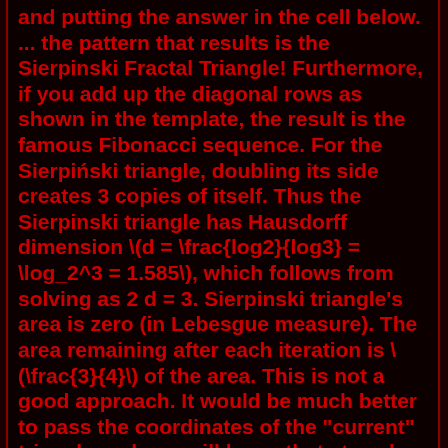and putting the answer in the cell below. ... the pattern that results is the Sierpinski Fractal Triangle! Furthermore, if you add up the diagonal rows as shown in the template, the result is the famous Fibonacci sequence. For the Sierpiński triangle, doubling its side creates 3 copies of itself. Thus the Sierpinski triangle has Hausdorff dimension \(d = \frac{log2}{log3} = \log_2^3 = 1.585\), which follows from solving as 2 d = 3. Sierpinski triangle's area is zero (in Lebesgue measure). The area remaining after each iteration is \(\frac{3}{4}\) of the area. This is not a good approach. It would be much better to pass the coordinates of the "current" triangle and you will know that at each time there will be 3x as many triangles to be drawn. You would need to call sierpinski 3 times each time (except when the process has to end) a sierpinski triangle was drawn. You have only one sierpinski call. Finding the area and perimeter of Sierpinski's gasket (triangle) using the limit of sequences. 2022. 6. 17. · Drawing the fractal Posted - 23 Nov 2020, 22:37 As a total aside, I have found that methodically drawing the. In